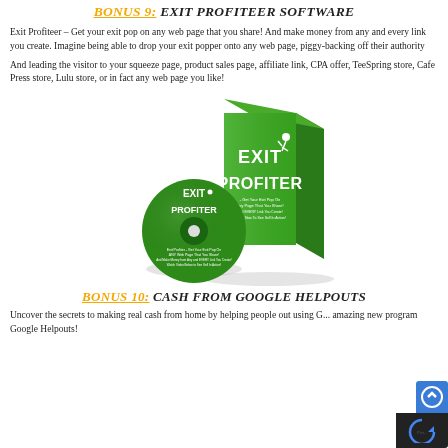BONUS 9: EXIT PROFITEER SOFTWARE
Exit Profiteer – Get your exit pop on any web page that you share! And make money from any and every link you create. Imagine being able to drop your exit popper onto any web page, piggy-backing off their authority
And leading the visitor to your squeeze page, product sales page, affiliate link, CPA offer, TeeSpring store, Cafe Press store, Lulu store, or in fact any web page you like!
[Figure (photo): Exit Profiteer software box and CD product image on white background]
BONUS 10: CASH FROM GOOGLE HELPOUTS
Uncover the secrets to making real cash from home by helping people out using G... amazing new program Google Helpouts!